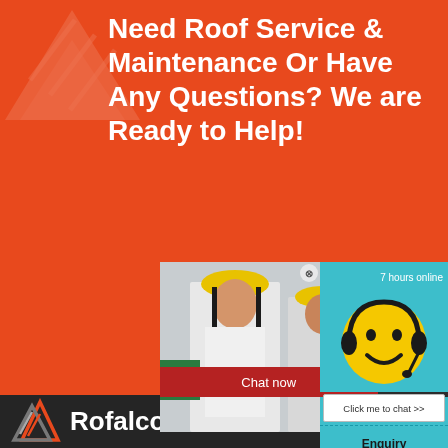Need Roof Service & Maintenance Or Have Any Questions? We are Ready to Help!
[Figure (screenshot): Live chat popup overlay showing construction workers in hard hats, LIVE CHAT text in red italic, 'Click for a Free Consultation' subtitle, Chat now and Chat later buttons, and a smiley face customer service widget on the right with '7 hours online', 'Click me to chat >>', 'Enquiry', and 'superbrian707@gma...' email]
[Figure (logo): Rofalco company logo with triangular roof icon and company name in white text on dark background]
superbrian707@gma